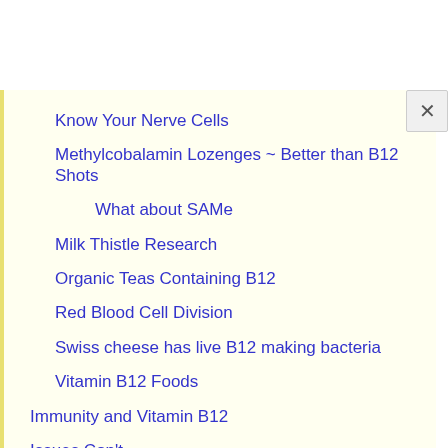Know Your Nerve Cells
Methylcobalamin Lozenges ~ Better than B12 Shots
What about SAMe
Milk Thistle Research
Organic Teas Containing B12
Red Blood Cell Division
Swiss cheese has live B12 making bacteria
Vitamin B12 Foods
Immunity and Vitamin B12
Issues Con't